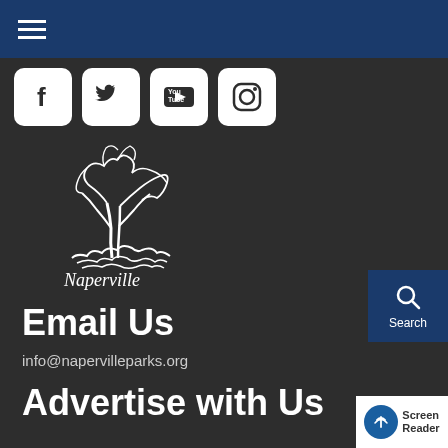Naperville Park District website header with hamburger menu
[Figure (logo): Social media icon buttons: Facebook, Twitter, YouTube, Instagram]
[Figure (logo): Naperville Park District logo with tree illustration and italic text]
Email Us
info@napervilleparks.org
Advertise with Us